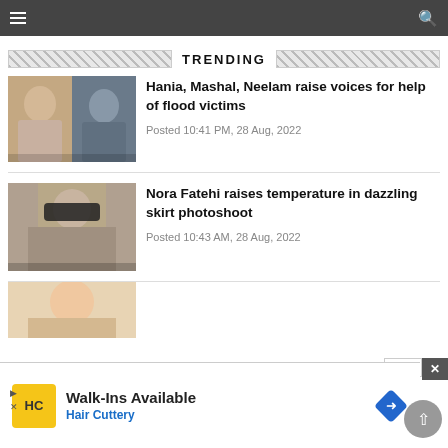Navigation bar with hamburger menu and search icon
TRENDING
[Figure (photo): Two women in glamorous outfits side by side]
Hania, Mashal, Neelam raise voices for help of flood victims
Posted 10:41 PM, 28 Aug, 2022
[Figure (photo): Woman with sunglasses in white outfit]
Nora Fatehi raises temperature in dazzling skirt photoshoot
Posted 10:43 AM, 28 Aug, 2022
[Figure (photo): Partially visible third news item thumbnail]
latest
[Figure (infographic): Advertisement: Walk-Ins Available - Hair Cuttery]